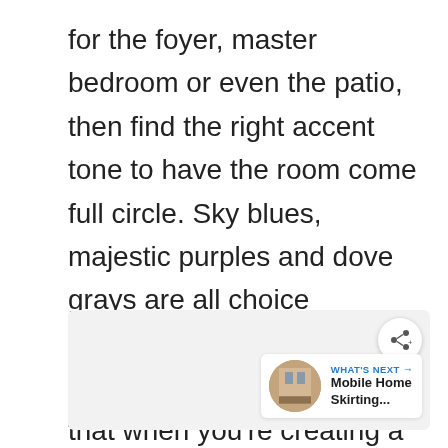for the foyer, master bedroom or even the patio, then find the right accent tone to have the room come full circle. Sky blues, majestic purples and dove grays are all choice selections. But, get creative and have fun. Just know that when you’re creating a tan and yellow space, you’re sure to have a brilliant, fresh room to enjoy!
[Figure (other): A card/widget area with a share button (circular icon with connected nodes) and a 'What's Next' recommendation showing a mobile home skirting thumbnail image and label.]